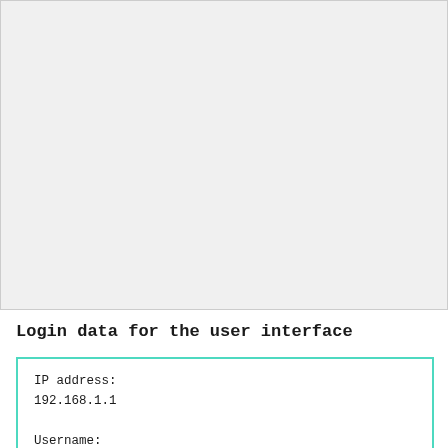[Figure (screenshot): A large empty light gray screenshot/image placeholder box occupying the top portion of the page.]
Login data for the user interface
| IP address: |  |
| 192.168.1.1 |  |
|  |  |
| Username: |  |